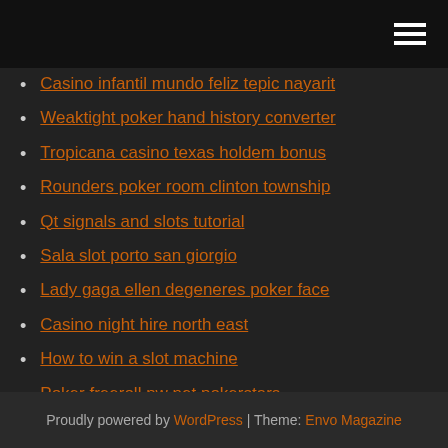Casino infantil mundo feliz tepic nayarit
Weaktight poker hand history converter
Tropicana casino texas holdem bonus
Rounders poker room clinton township
Qt signals and slots tutorial
Sala slot porto san giorgio
Lady gaga ellen degeneres poker face
Casino night hire north east
How to win a slot machine
Poker freeroll pw net pokerstars
Did poker stars make borgata casino
Proudly powered by WordPress | Theme: Envo Magazine